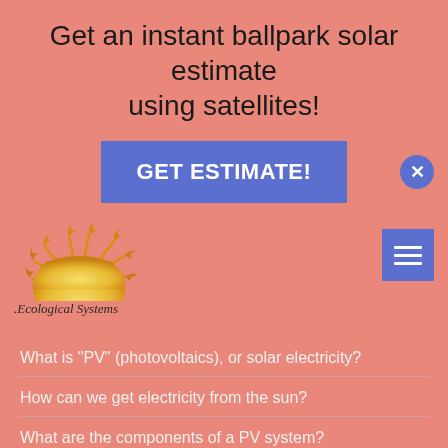Get an instant ballpark solar estimate using satellites!
[Figure (other): Blue 'GET ESTIMATE!' button and a close (X) button in blue circle]
[Figure (logo): Ecological Systems sun logo with text '.Ecological Systems']
[Figure (other): Blue hamburger menu icon]
What is "PV" (photovoltaics), or solar electricity?
How can we get electricity from the sun?
What are the components of a PV system?
How long do PV systems last?